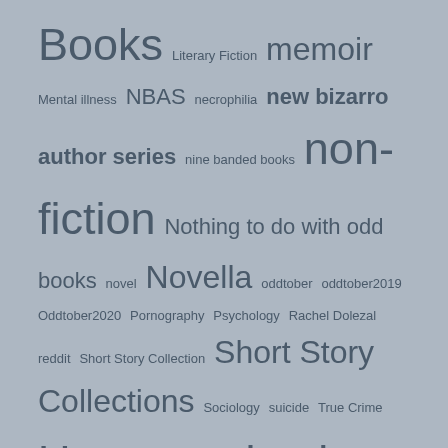Books Literary Fiction memoir Mental illness NBAS necrophilia new bizarro author series nine banded books non-fiction Nothing to do with odd books novel Novella oddtober oddtober2019 Oddtober2020 Pornography Psychology Rachel Dolezal reddit Short Story Collection Short Story Collections Sociology suicide True Crime Uncategorized Zombies Zombie Week
Archives
Select Month
Search ...